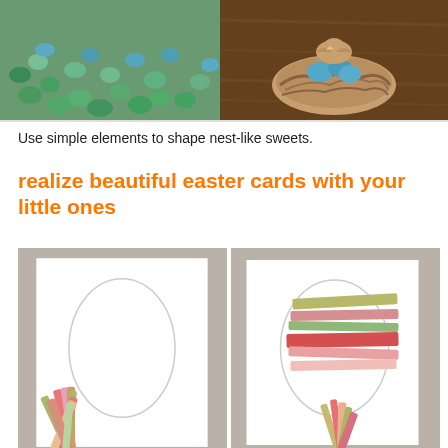[Figure (photo): Two photos side by side: left shows scattered blue/green Easter eggs on a greenish surface, right shows a decorative bird's nest with blue eggs on a brown wooden surface.]
Use simple elements to shape nest-like sweets.
realize beautiful easter cards with your little ones
[Figure (photo): Two side-by-side craft instructional photos showing Easter egg cards being made: left card has an oval outline drawn on white paper with colorful paper strips fanned out at the bottom; right card shows the same oval partially covered with horizontal strips of colored paper (olive, patterned, green, pink/red, light pink) and more strips fanning at the bottom.]